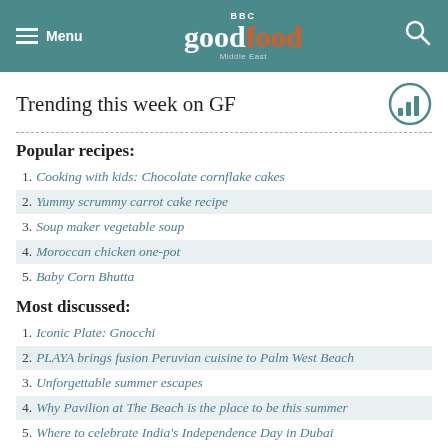BBC good food Middle East — Menu / Search
Trending this week on GF
Popular recipes:
1. Cooking with kids: Chocolate cornflake cakes
2. Yummy scrummy carrot cake recipe
3. Soup maker vegetable soup
4. Moroccan chicken one-pot
5. Baby Corn Bhutta
Most discussed:
1. Iconic Plate: Gnocchi
2. PLAYA brings fusion Peruvian cuisine to Palm West Beach
3. Unforgettable summer escapes
4. Why Pavilion at The Beach is the place to be this summer
5. Where to celebrate India's Independence Day in Dubai
Suggested recipes from this